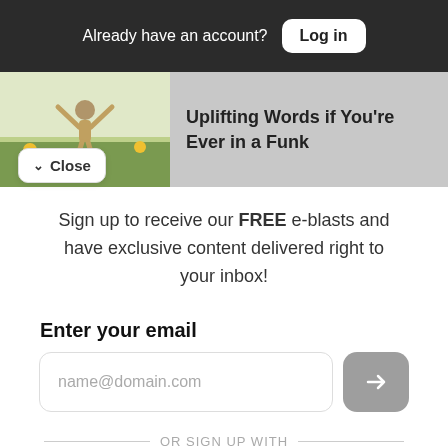Already have an account? Log in
Uplifting Words if You're Ever in a Funk
Sign up to receive our FREE e-blasts and have exclusive content delivered right to your inbox!
Enter your email
name@domain.com
OR SIGN UP WITH